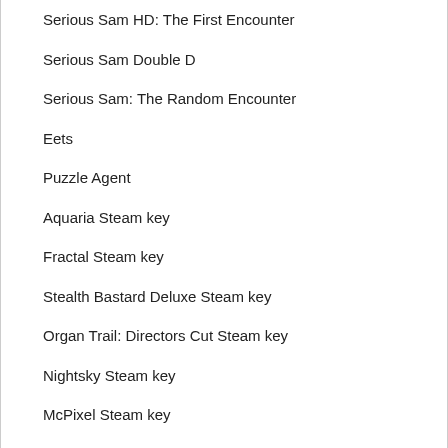Serious Sam HD: The First Encounter
Serious Sam Double D
Serious Sam: The Random Encounter
Eets
Puzzle Agent
Aquaria Steam key
Fractal Steam key
Stealth Bastard Deluxe Steam key
Organ Trail: Directors Cut Steam key
Nightsky Steam key
McPixel Steam key
Waking Mars Steam key
Pirates of Black Cove